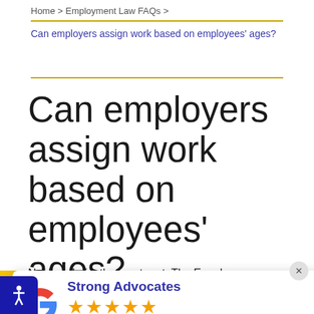Home > Employment Law FAQs >
Can employers assign work based on employees' ages?
Can employers assign work based on employees' ages?
Not legally for the most part. The Equal Employment Opportunity Commission considers it illegal for employers to base any employment decision ... basing assignments or promotions on assumptions or
[Figure (infographic): Google review popup showing Strong Advocates with 5 stars rating. Text reads: Stars - Based on User Reviews. Includes Google G logo and accessibility icon.]